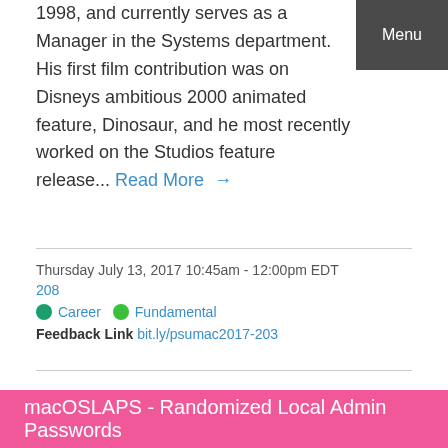1998, and currently serves as a Manager in the Systems department. His first film contribution was on Disneys ambitious 2000 animated feature, Dinosaur, and he most recently worked on the Studios feature release... Read More →
Menu
Thursday July 13, 2017 10:45am - 12:00pm EDT
208
Career   Fundamental
Feedback Link bit.ly/psumac2017-203
10:45am EDT
macOSLAPS - Randomized Local Admin Passwords